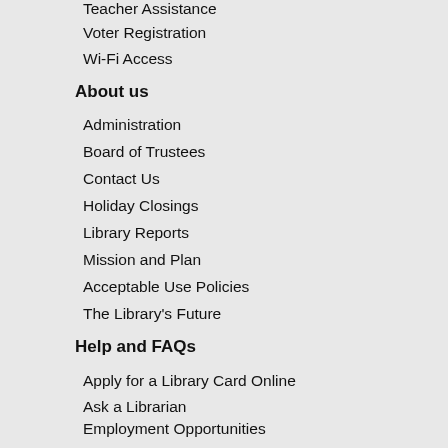Teacher Assistance
Voter Registration
Wi-Fi Access
About us
Administration
Board of Trustees
Contact Us
Holiday Closings
Library Reports
Mission and Plan
Acceptable Use Policies
The Library's Future
Help and FAQs
Apply for a Library Card Online
Ask a Librarian
Employment Opportunities
En Español
Help With My Account